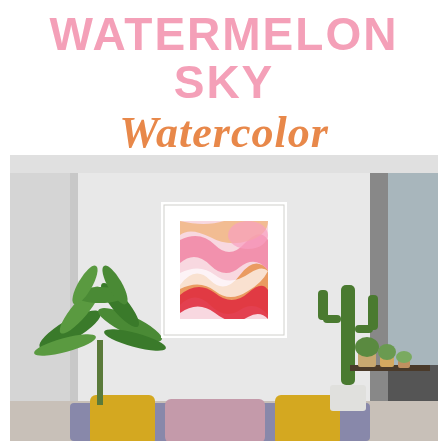WATERMELON SKY Watercolor
[Figure (photo): Interior room scene showing a living room with a white framed watercolor art print on a grey wall, featuring swirling pink, red, and orange abstract watermelon-sky artwork. Green tropical plants on both sides of the room, yellow sofa cushions at the bottom, a dark window on the right side, and a shelf with small potted plants.]